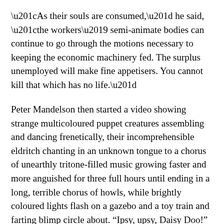“As their souls are consumed,” he said, “the workers’ semi-animate bodies can continue to go through the motions necessary to keeping the economic machinery fed. The surplus unemployed will make fine appetisers. You cannot kill that which has no life.”
Peter Mandelson then started a video showing strange multicoloured puppet creatures assembling and dancing frenetically, their incomprehensible eldritch chanting in an unknown tongue to a chorus of unearthly tritone-filled music growing faster and more anguished for three full hours until ending in a long, terrible chorus of howls, while brightly coloured lights flash on a gazebo and a toy train and farting blimp circle about. “Ipsy, upsy, Daisy Doo!” he added.
Nicolas Sarkozy objected, stressing French post-modernist philosophy’s powers to exterminate all rational thought. Angela Merkel offered up German porn. The Japanese merely smiled quietly.